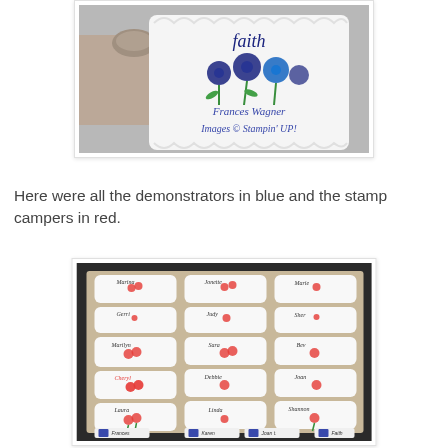[Figure (photo): A hand holding a decorative white scallop-edged card with blue flowers and the word 'Faith', signed 'Frances Wagner, Images © Stampin' UP!']
Here were all the demonstrators in blue and the stamp campers in red.
[Figure (photo): A black background display of multiple white scallop-edged name badge cards with red and blue flowers, arranged in three columns on a dark surface.]